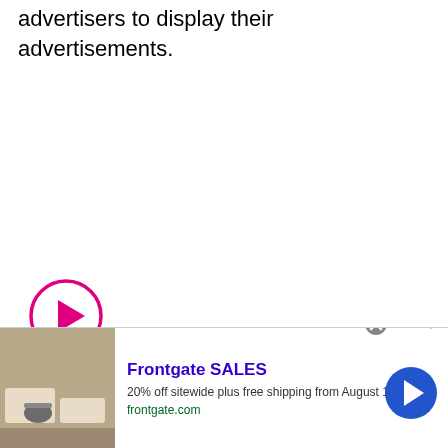advertisers to display their advertisements.
[Figure (other): Pink circle play button icon]
3. The peak sync times can be
[Figure (other): Frontgate SALES advertisement banner: 20% off sitewide plus free shipping from August 19-22, frontgate.com, with outdoor furniture image]